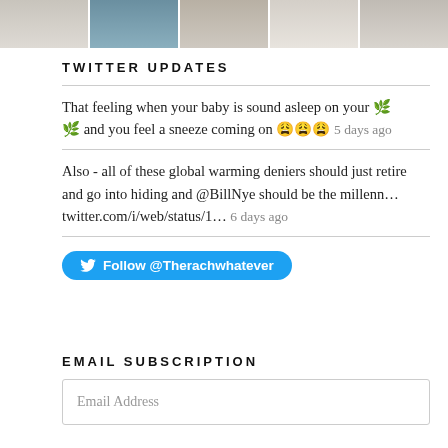[Figure (photo): Horizontal photo strip showing multiple images of knitted/fabric textures and items, partially visible at top of page]
TWITTER UPDATES
That feeling when your baby is sound asleep on your 🌿 🌿 and you feel a sneeze coming on 😩😩😩 5 days ago
Also - all of these global warming deniers should just retire and go into hiding and @BillNye should be the millenn… twitter.com/i/web/status/1… 6 days ago
Follow @Therachwhatever
EMAIL SUBSCRIPTION
Email Address